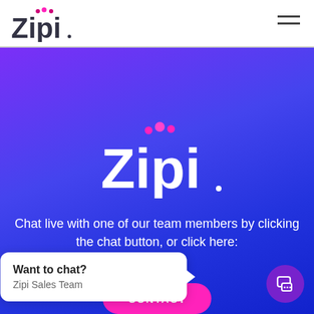[Figure (logo): Zipi logo in dark gray with pink dots above letters, in the white header bar]
[Figure (logo): Large Zipi logo in white with pink/magenta dots above letters, centered on purple-blue gradient background]
Chat live with one of our team members by clicking the chat button, or click here:
[Figure (other): Pink rounded CONTACT button partially visible]
[Figure (other): White chat popup box with text 'Want to chat?' and 'Zipi Sales Team', with speech bubble tail pointing right toward chat circle button]
Want to chat?
Zipi Sales Team